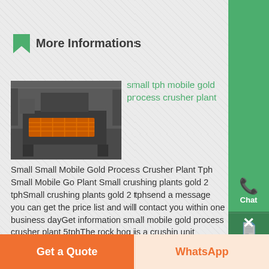More Informations
[Figure (photo): Industrial machinery - mobile gold process crusher plant in a factory setting with orange mechanical components]
small tph mobile gold process crusher plant
Small Small Mobile Gold Process Crusher Plant Tph Small Mobile Gold Plant Small crushing plants gold 2 tphSmall crushing plants gold 2 tphsend a message you can get the price list and will contact you within one business dayGet information small mobile gold process crusher plant 5tphThe rock hog is a crushing unit designed for the small gold mining ready to take the nGold mining in